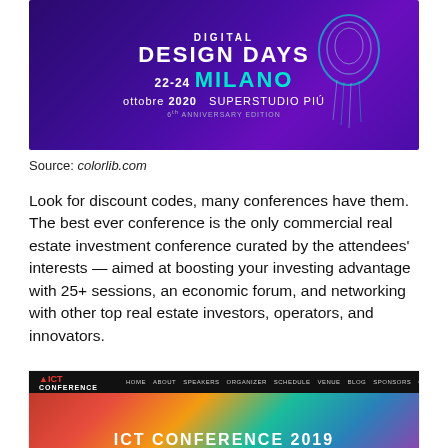[Figure (screenshot): Digital Design Days Milano 22-24 ottobre 2020, Superstudio Più, Anniversary Edition banner with purple background and jellyfish graphic]
Source: colorlib.com
Look for discount codes, many conferences have them. The best ever conference is the only commercial real estate investment conference curated by the attendees' interests — aimed at boosting your investing advantage with 25+ sessions, an economic forum, and networking with other top real estate investors, operators, and innovators.
[Figure (screenshot): ICT Conference 2019 website screenshot with colorful polygon background and navigation bar]